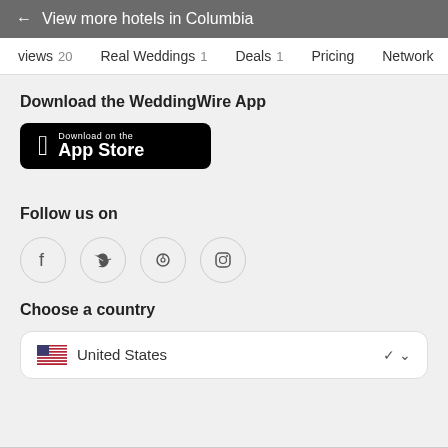← View more hotels in Columbia
views 20   Real Weddings 1   Deals 1   Pricing   Network
Download the WeddingWire App
[Figure (other): Download on the App Store button (black rounded rectangle with Apple logo)]
Follow us on
[Figure (other): Social media icons: Facebook, Twitter, Pinterest, Instagram — each in a light gray circle]
Choose a country
[Figure (other): Country selector dropdown showing United States flag and name with chevron]